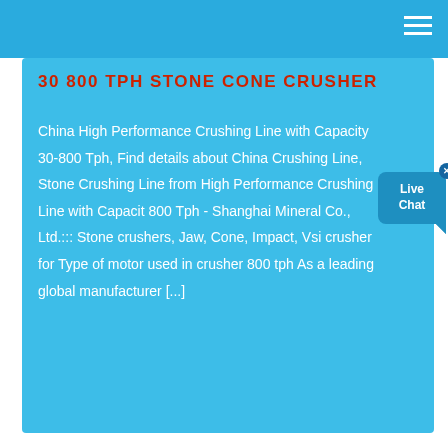30 800 TPH STONE CONE CRUSHER
China High Performance Crushing Line with Capacity 30-800 Tph, Find details about China Crushing Line, Stone Crushing Line from High Performance Crushing Line with Capacity 800 Tph - Shanghai Mineral Co., Ltd.::: Stone crushers, Jaw, Cone, Impact, Vsi crusher for Type of motor used in crusher 800 tph As a leading global manufacturer [...]